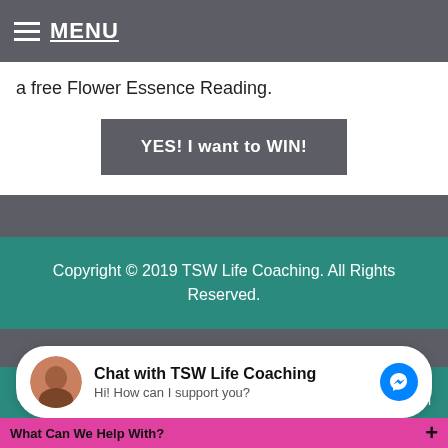≡ MENU
a free Flower Essence Reading.
YES! I want to WIN!
Copyright © 2019 TSW Life Coaching. All Rights Reserved.
Copyright © 2016 TSW Life Coaching. All Rights Reserved. | Website Developed by Go-Mobile Media Marketing
Chat with TSW Life Coaching
Hi! How can I support you?
What Can We Help With?